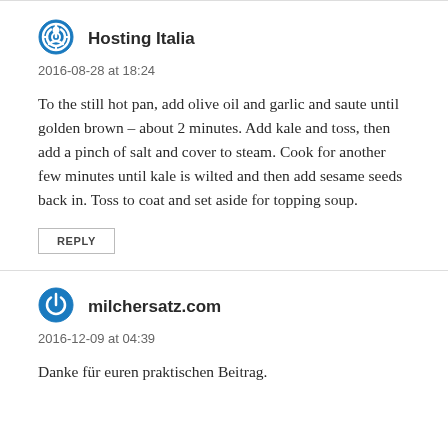Hosting Italia
2016-08-28 at 18:24
To the still hot pan, add olive oil and garlic and saute until golden brown – about 2 minutes. Add kale and toss, then add a pinch of salt and cover to steam. Cook for another few minutes until kale is wilted and then add sesame seeds back in. Toss to coat and set aside for topping soup.
REPLY
milchersatz.com
2016-12-09 at 04:39
Danke für euren praktischen Beitrag.